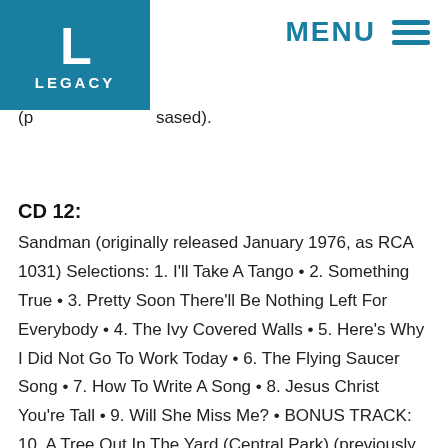LEGACY | MENU
(previously unreleased).
CD 12:
Sandman (originally released January 1976, as RCA 1031) Selections: 1. I'll Take A Tango • 2. Something True • 3. Pretty Soon There'll Be Nothing Left For Everybody • 4. The Ivy Covered Walls • 5. Here's Why I Did Not Go To Work Today • 6. The Flying Saucer Song • 7. How To Write A Song • 8. Jesus Christ You're Tall • 9. Will She Miss Me? • BONUS TRACK: 10. A Tree Out In The Yard (Central Park) (previously unreleased).